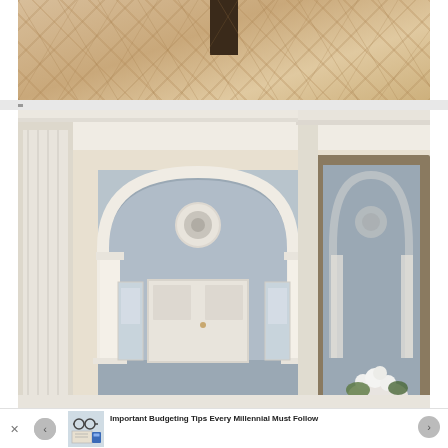[Figure (photo): Top portion of an interior room showing herringbone-pattern light beige floor with a dark brown panel or door visible at top center, walls with soft texture]
[Figure (photo): Elegant home foyer with an arched entryway featuring white columns, a white front door with sidelights and transom window with circular decorative element, and a large wood-framed mirror on the right reflecting the doorway, with white flowers in foreground]
[Figure (photo): Advertisement thumbnail showing budgeting items including glasses, notebook with budget text, and calculator]
Important Budgeting Tips Every Millennial Must Follow